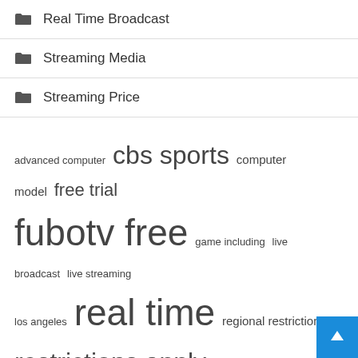Real Time Broadcast
Streaming Media
Streaming Price
advanced computer  cbs sports  computer model  free trial  fubotv free  game including  live broadcast  live streaming  los angeles  real time  regional restrictions  restrictions apply  sportsline advanced  streaming services  united states
Recent Posts